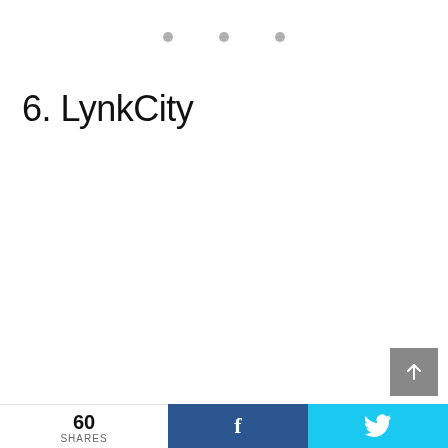[Figure (other): Three grey dots in a row, navigation indicator]
6. LynkCity
60 SHARES | Facebook share button | Twitter share button